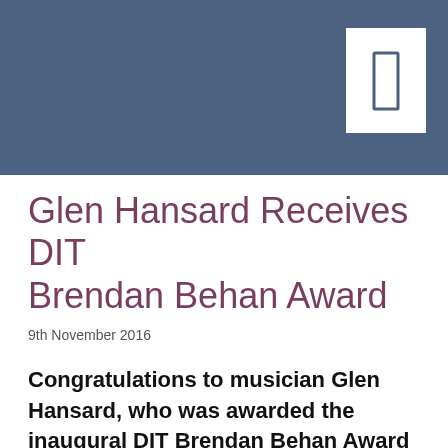[Figure (other): Dark blue/slate header bar with a white rectangular icon box containing a door/rectangle symbol in the top-right corner]
Glen Hansard Receives DIT Brendan Behan Award
9th November 2016
Congratulations to musician Glen Hansard, who was awarded the inaugural DIT Brendan Behan Award in recognition of his outstanding contribution to the arts.
The Dublin musician was honoured for his long and varied career as a singer, songwriter and actor. His